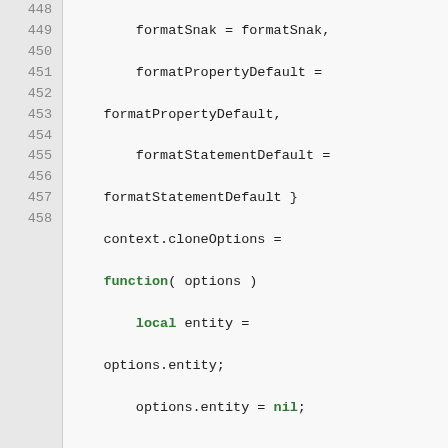Code listing lines 448-458 showing Lua/scripting code with syntax highlighting. Keywords 'function', 'local', 'nil' in green bold. Comment in green italic.